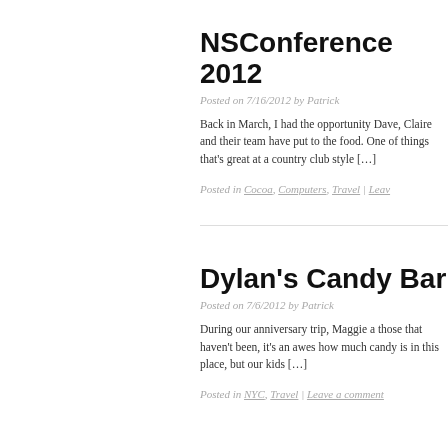NSConference 2012
Posted on 7/16/2012 by Patrick
Back in March, I had the opportunity Dave, Claire and their team have put to the food. One of things that's great at a country club style […]
Posted in Cocoa, Computers, Travel | Leav…
Dylan's Candy Bar
Posted on 7/6/2012 by Patrick
During our anniversary trip, Maggie a those that haven't been, it's an awes how much candy is in this place, but our kids […]
Posted in NYC, Travel | Leave a comment